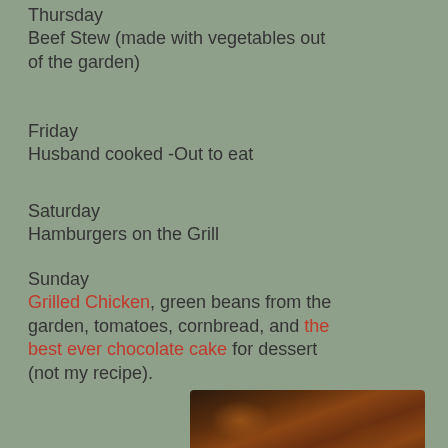Thursday    Beef Stew (made with vegetables out of the garden)
Friday    Husband cooked -Out to eat
Saturday    Hamburgers on the Grill
Sunday    Grilled Chicken, green beans from the garden, tomatoes, cornbread, and the best ever chocolate cake for dessert (not my recipe).
[Figure (photo): A chocolate cake with thick chocolate frosting, viewed from the side, sitting on a colorful plate.]